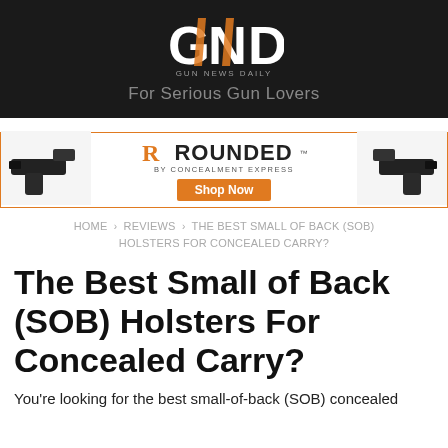[Figure (logo): Gun News Daily logo - GND letters in orange and white on dark background with tagline 'For Serious Gun Lovers']
[Figure (other): Rounded by Concealment Express advertisement banner showing two holsters and a Shop Now button]
HOME › REVIEWS › THE BEST SMALL OF BACK (SOB) HOLSTERS FOR CONCEALED CARRY?
The Best Small of Back (SOB) Holsters For Concealed Carry?
You're looking for the best small-of-back (SOB) concealed